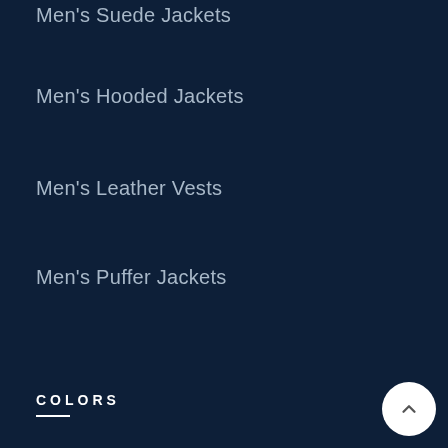Men's Suede Jackets
Men's Hooded Jackets
Men's Leather Vests
Men's Puffer Jackets
COLORS
Men's Black Jackets
Men's Red Jackets
Men's Green Jackets
Men's Blue Jackets